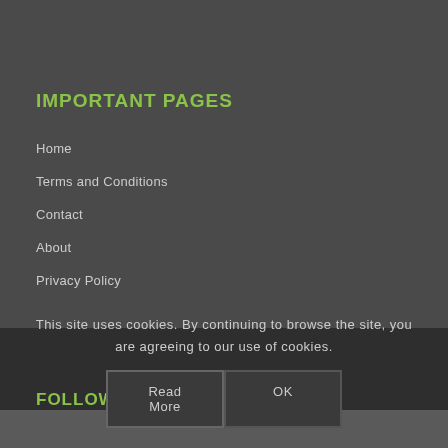IMPORTANT PAGES
Home
Terms and Conditions
Contact
About
Privacy Policy
This site uses cookies. By continuing to browse the site, you are agreeing to our use of cookies.
FOLLOW US ON FACEBOOK
Read More
OK